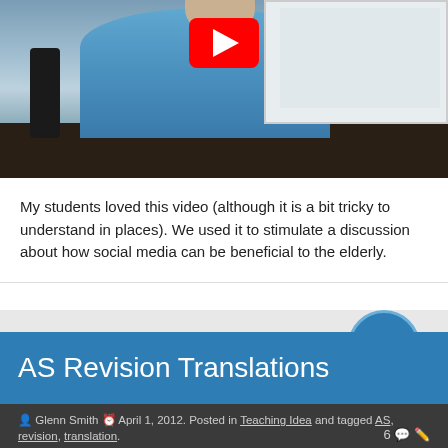[Figure (screenshot): YouTube video thumbnail showing an elderly person in a blue jacket sitting at a desk, with a red YouTube play button overlay at the top center]
My students loved this video (although it is a bit tricky to understand in places).  We used it to stimulate a discussion about how social media can be  beneficial to the elderly.
AS Revision Translations
Glenn Smith  April 1, 2012. Posted in Teaching Idea and tagged AS, revision, translation.
6